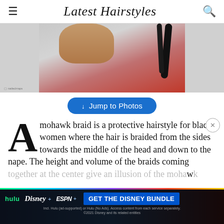Latest Hairstyles
[Figure (photo): Close-up of a person with a mohawk braid hairstyle, wearing a red top, showing the back of the neck and braided hair.]
↓ Jump to Photos
A mohawk braid is a protective hairstyle for black women where the hair is braided from the sides towards the middle of the head and down to the nape. The height and volume of the braids coming together at the center give an illusion of the mohawk style that is both ethnic and incredible.
[Figure (advertisement): Hulu Disney+ ESPN+ Get the Disney Bundle ad banner. Incl. Hulu (ad-supported) or Hulu (No Ads). Access content from each service separately. ©2021 Disney and its related entities.]